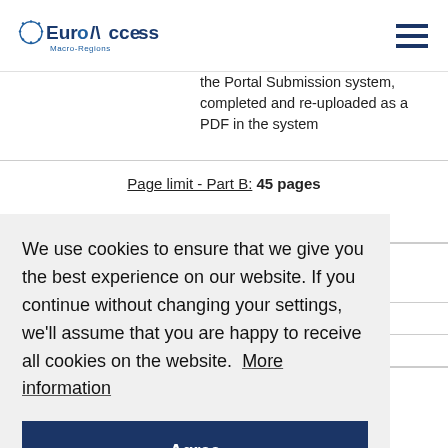EuroAccess Macro-Regions
the Portal Submission system, completed and re-uploaded as a PDF in the system
Page limit - Part B: 45 pages
We use cookies to ensure that we give you the best experience on our website. If you continue without changing your settings, we'll assume that you are happy to receive all cookies on the website. More information
Agree
appropriately.